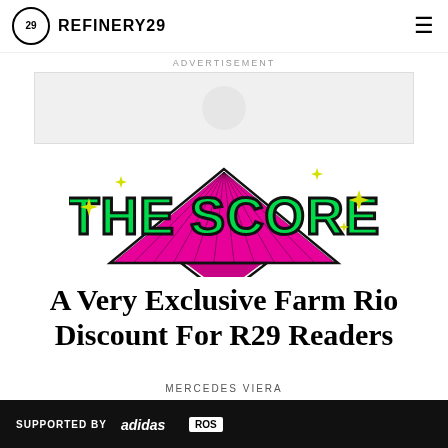REFINERY29
ADVERTISEMENT
[Figure (other): Advertisement placeholder box with circular spinner icon]
[Figure (logo): THE SCORE logo in green bold text with pink starburst/fan graphic and yellow star sparkles]
A Very Exclusive Farm Rio Discount For R29 Readers
MERCEDES VIERA
AUGUST 23, 2021 7:41 PM
[Figure (other): SUPPORTED BY adidas and ROS banner advertisement in dark background]